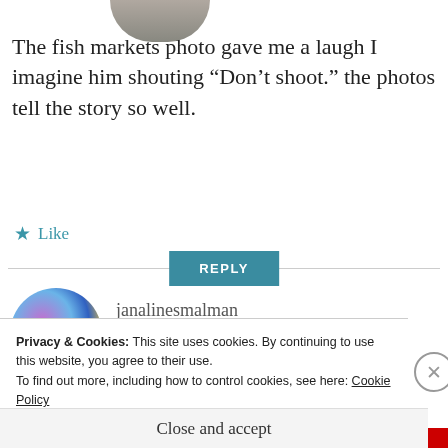[Figure (photo): Partially cropped circular avatar photo of a person at the top of the page]
The fish markets photo gave me a laugh I imagine him shouting “Don’t shoot.” the photos tell the story so well.
★ Like
REPLY
[Figure (photo): Circular avatar photo with colorful abstract bubble/paint swirl pattern in blue, purple, pink, and yellow tones]
janalinesmalman
JUNE 17, 2013 AT 10:14
Privacy & Cookies: This site uses cookies. By continuing to use this website, you agree to their use.
To find out more, including how to control cookies, see here: Cookie Policy
Close and accept